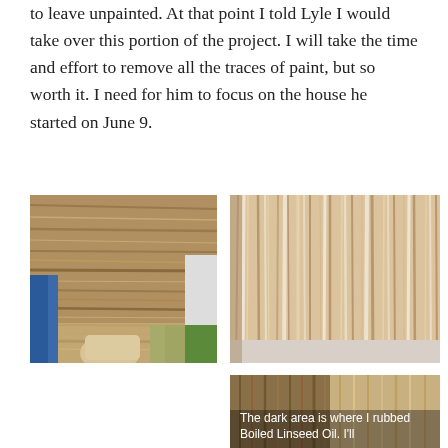to leave unpainted. At that point I told Lyle I would take over this portion of the project. I will take the time and effort to remove all the traces of paint, but so worth it. I need for him to focus on the house he started on June 9.
[Figure (photo): Photo of a person sanding or scraping paint off a wooden porch ceiling, with blue tarp visible on the left]
[Figure (photo): Close-up photo of a wood-grain ceiling with paint partially removed showing natural wood grain and remaining white paint traces]
[Figure (photo): Partially visible photo with caption overlay: 'The dark area is where I rubbed Boiled Linseed Oil. I'll']
The dark area is where I rubbed Boiled Linseed Oil. I'll